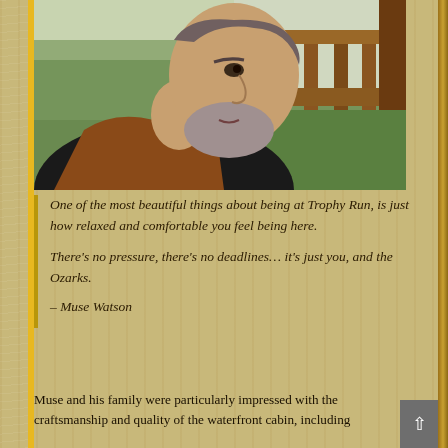[Figure (photo): An older man with gray hair and beard, wearing a brown vest over a dark shirt, seated on a wooden deck/porch with railing and green trees in background. Profile view looking to the right.]
One of the most beautiful things about being at Trophy Run, is just how relaxed and comfortable you feel being here.

There's no pressure, there's no deadlines… it's just you, and the Ozarks.

– Muse Watson
Muse and his family were particularly impressed with the craftsmanship and quality of the waterfront cabin, including